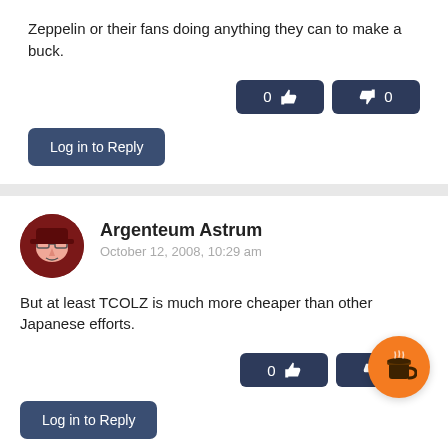Zeppelin or their fans doing anything they can to make a buck.
Log in to Reply
Argenteum Astrum
October 12, 2008, 10:29 am
But at least TCOLZ is much more cheaper than other Japanese efforts.
Log in to Reply
Steve388